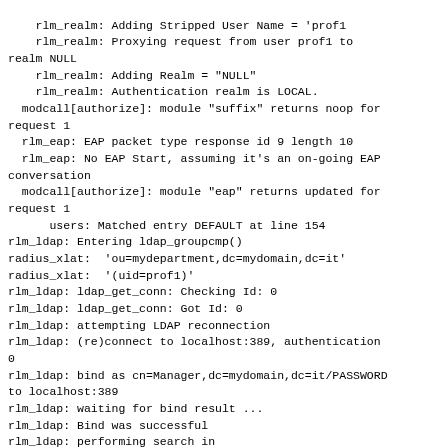rlm_realm: Adding Stripped User Name = 'prof1'
    rlm_realm: Proxying request from user prof1 to realm NULL
    rlm_realm: Adding Realm = "NULL"
    rlm_realm: Authentication realm is LOCAL.
  modcall[authorize]: module "suffix" returns noop for request 1
  rlm_eap: EAP packet type response id 9 length 10
  rlm_eap: No EAP Start, assuming it's an on-going EAP conversation
  modcall[authorize]: module "eap" returns updated for request 1
      users: Matched entry DEFAULT at line 154
rlm_ldap: Entering ldap_groupcmp()
radius_xlat:  'ou=mydepartment,dc=mydomain,dc=it'
radius_xlat:  '(uid=prof1)'
rlm_ldap: ldap_get_conn: Checking Id: 0
rlm_ldap: ldap_get_conn: Got Id: 0
rlm_ldap: attempting LDAP reconnection
rlm_ldap: (re)connect to localhost:389, authentication 0
rlm_ldap: bind as cn=Manager,dc=mydomain,dc=it/PASSWORD to localhost:389
rlm_ldap: waiting for bind result ...
rlm_ldap: Bind was successful
rlm_ldap: performing search in ou=mydepartment,dc=mydomain,dc=it, with filter (uid=prof1)
rlm_ldap: ldap_release_conn: Release Id: 0
radius_xlat:  '(|(&(objectClass=GroupOfNames)(member=cn)?dMaurizio